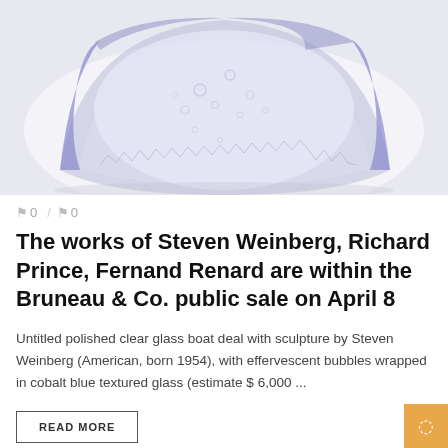[Figure (photo): A polished clear glass boat or disc sculpture with cobalt blue textured outer ring and effervescent bubbles inside, photographed on a white background with soft blue-purple lighting.]
0 / 0
The works of Steven Weinberg, Richard Prince, Fernand Renard are within the Bruneau & Co. public sale on April 8
Untitled polished clear glass boat deal with sculpture by Steven Weinberg (American, born 1954), with effervescent bubbles wrapped in cobalt blue textured glass (estimate $ 6,000 ...
READ MORE